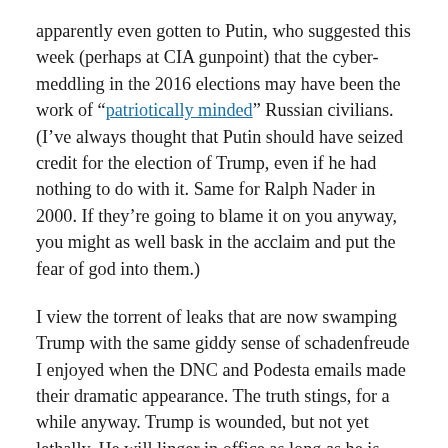apparently even gotten to Putin, who suggested this week (perhaps at CIA gunpoint) that the cyber-meddling in the 2016 elections may have been the work of “patriotically minded” Russian civilians. (I’ve always thought that Putin should have seized credit for the election of Trump, even if he had nothing to do with it. Same for Ralph Nader in 2000. If they’re going to blame it on you anyway, you might as well bask in the acclaim and put the fear of god into them.)
I view the torrent of leaks that are now swamping Trump with the same giddy sense of schadenfreude I enjoyed when the DNC and Podesta emails made their dramatic appearance. The truth stings, for a while anyway. Trump is wounded, but not yet lethally. He will linger in office as long as he is useful to his own party and when he becomes a liability they’ll try to pitch him overboard. If Trump falls, there will be no need for a second Warren Commission to find the patsy. He will